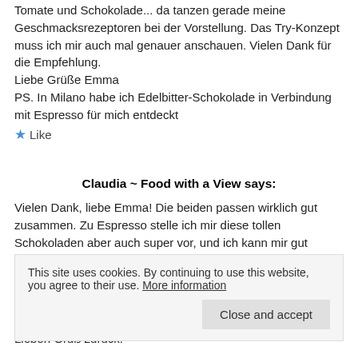Tomate und Schokolade... da tanzen gerade meine Geschmacksrezeptoren bei der Vorstellung. Das Try-Konzept muss ich mir auch mal genauer anschauen. Vielen Dank für die Empfehlung.
Liebe Grüße Emma
PS. In Milano habe ich Edelbitter-Schokolade in Verbindung mit Espresso für mich entdeckt
★ Like
Claudia ~ Food with a View says:
Vielen Dank, liebe Emma! Die beiden passen wirklich gut zusammen. Zu Espresso stelle ich mir diese tollen Schokoladen aber auch super vor, und ich kann mir gut
This site uses cookies. By continuing to use this website, you agree to their use. More information
Close and accept
Lieben Gruß zurück!